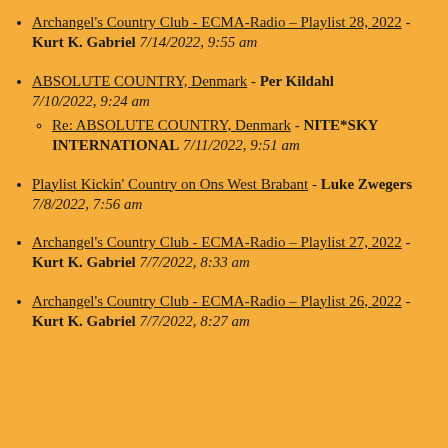Archangel's Country Club - ECMA-Radio – Playlist 28, 2022 - Kurt K. Gabriel 7/14/2022, 9:55 am
ABSOLUTE COUNTRY, Denmark - Per Kildahl 7/10/2022, 9:24 am
  Re: ABSOLUTE COUNTRY, Denmark - NITE*SKY INTERNATIONAL 7/11/2022, 9:51 am
Playlist Kickin' Country on Ons West Brabant - Luke Zwegers 7/8/2022, 7:56 am
Archangel's Country Club - ECMA-Radio – Playlist 27, 2022 - Kurt K. Gabriel 7/7/2022, 8:33 am
Archangel's Country Club - ECMA-Radio – Playlist 26, 2022 - Kurt K. Gabriel 7/7/2022, 8:27 am